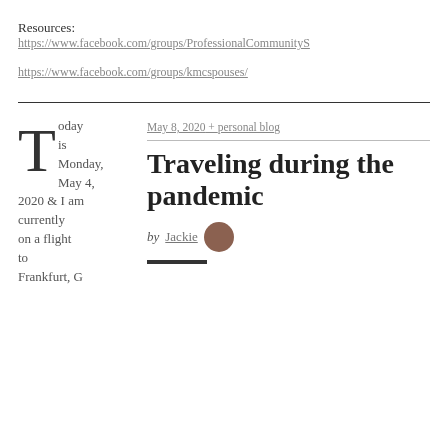Resources:
https://www.facebook.com/groups/ProfessionalCommunityS
https://www.facebook.com/groups/kmcspouses/
May 8, 2020 + personal blog
Traveling during the pandemic
by Jackie
Today is Monday, May 4, 2020 & I am currently on a flight to Frankfurt, Germany which is our home for the